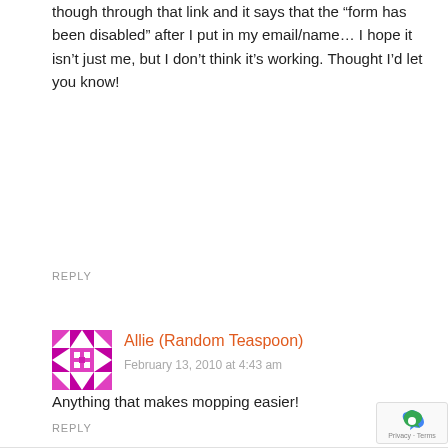though through that link and it says that the “form has been disabled” after I put in my email/name… I hope it isn’t just me, but I don’t think it’s working. Thought I’d let you know!
REPLY
[Figure (illustration): Pink and magenta quilt-pattern avatar icon for user Allie (Random Teaspoon)]
Allie (Random Teaspoon)
February 13, 2010 at 4:43 am
Anything that makes mopping easier!
REPLY